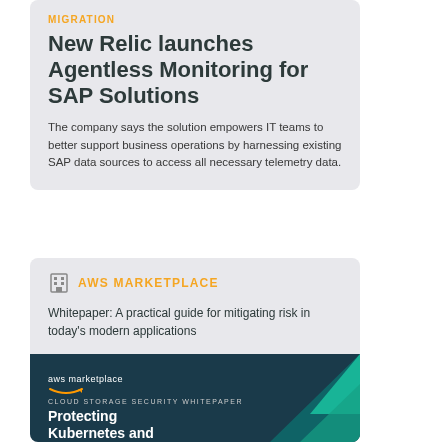MIGRATION
New Relic launches Agentless Monitoring for SAP Solutions
The company says the solution empowers IT teams to better support business operations by harnessing existing SAP data sources to access all necessary telemetry data.
AWS MARKETPLACE
Whitepaper: A practical guide for mitigating risk in today’s modern applications
[Figure (screenshot): AWS Marketplace whitepaper cover showing 'Protecting Kubernetes and' text on a dark teal background with geometric shapes and AWS marketplace logo]